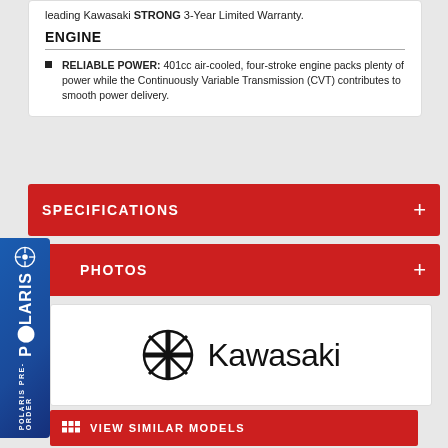leading Kawasaki STRONG 3-Year Limited Warranty.
ENGINE
RELIABLE POWER: 401cc air-cooled, four-stroke engine packs plenty of power while the Continuously Variable Transmission (CVT) contributes to smooth power delivery.
SPECIFICATIONS
PHOTOS
[Figure (logo): Kawasaki brand logo with globe-like emblem and Kawasaki wordmark]
VIEW SIMILAR MODELS